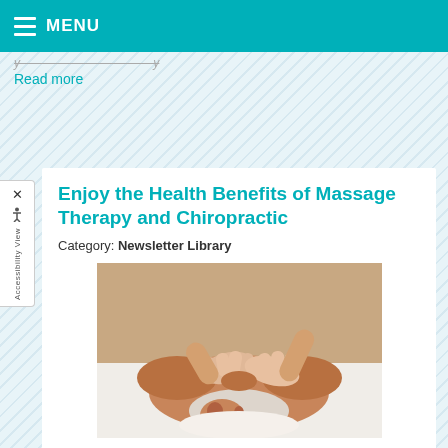MENU
Read more
Enjoy the Health Benefits of Massage Therapy and Chiropractic
Category: Newsletter Library
[Figure (photo): A person receiving a back/neck massage from a therapist, lying face down on a massage table with white linens. The therapist's hands are visible working on the person's upper back and neck area.]
Want to improve your health? Massage therapy and chiropractic treatment may offer the perfect solution.
Read more